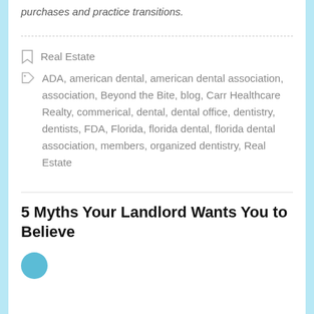purchases and practice transitions.
Real Estate
ADA, american dental, american dental association, association, Beyond the Bite, blog, Carr Healthcare Realty, commerical, dental, dental office, dentistry, dentists, FDA, Florida, florida dental, florida dental association, members, organized dentistry, Real Estate
5 Myths Your Landlord Wants You to Believe
[Figure (illustration): A circular avatar/profile icon in teal/blue color, partially visible at the bottom of the page]